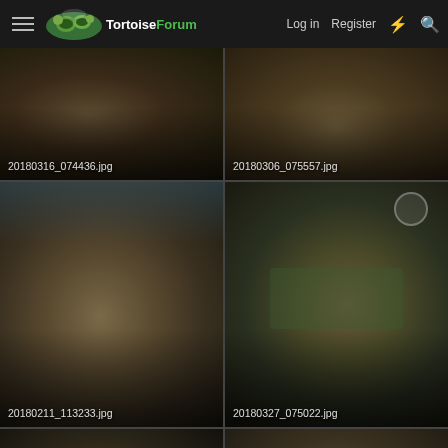[Figure (screenshot): TortoiseForum website header with hamburger menu, logo, Login and Register links, lightning bolt icon, and search icon on dark background]
[Figure (photo): Tortoise photo grid item labeled 20180316_074436.jpg]
[Figure (photo): Tortoise photo grid item labeled 20180306_075557.jpg]
[Figure (photo): Two tortoises on sandy substrate, labeled 20180211_113233.jpg]
[Figure (photo): Tortoise with green plants on sandy substrate, labeled 20180327_075022.jpg]
[Figure (photo): Partially visible tortoise photo, bottom row left, fading out]
[Figure (photo): Partially visible tortoise photo, bottom row right, fading out, with close (X) button overlay]